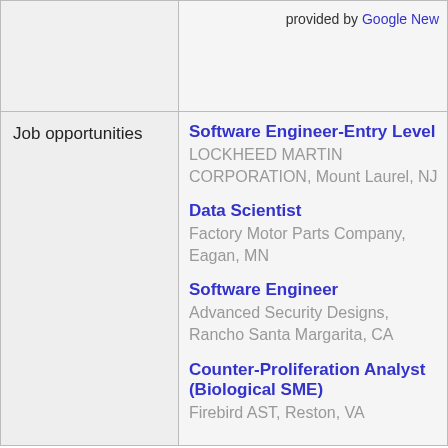provided by Google New
Job opportunities
Software Engineer-Entry Level
LOCKHEED MARTIN CORPORATION, Mount Laurel, NJ
Data Scientist
Factory Motor Parts Company, Eagan, MN
Software Engineer
Advanced Security Designs, Rancho Santa Margarita, CA
Counter-Proliferation Analyst (Biological SME)
Firebird AST, Reston, VA